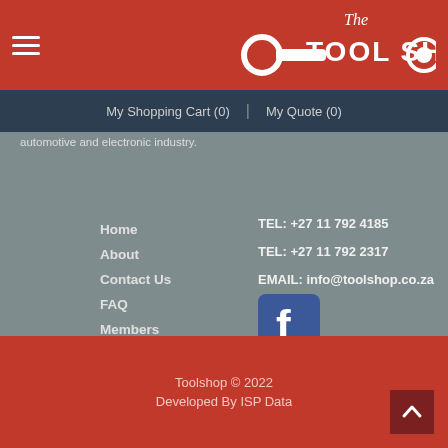The Tool Shop
My Shopping Cart (0) | My Quote (0)
automotive and electronic industry.
Home
About
Contact Us
FAQ
Members
Terms and Conditions
Return Policy
TEL: +27 11 792 4185
TEL: +27 11 792 2317
EMAIL: info@toolshop.co.za
[Figure (logo): Facebook logo icon - blue square with white F]
Toolshop © 2022
Developed By ISP Data